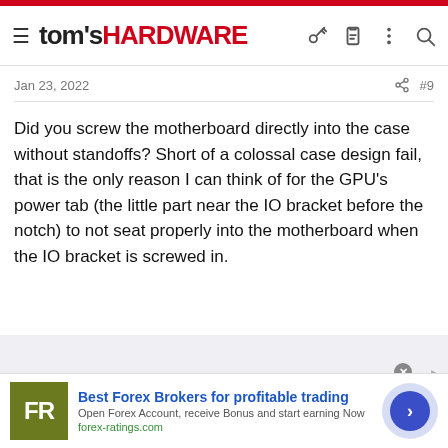tom's HARDWARE
Jan 23, 2022  #9
Did you screw the motherboard directly into the case without standoffs? Short of a colossal case design fail, that is the only reason I can think of for the GPU's power tab (the little part near the IO bracket before the notch) to not seat properly into the motherboard when the IO bracket is screwed in.
[Figure (other): Advertisement banner for forex-ratings.com: Best Forex Brokers for profitable trading. Open Forex Account, receive Bonus and start earning Now.]